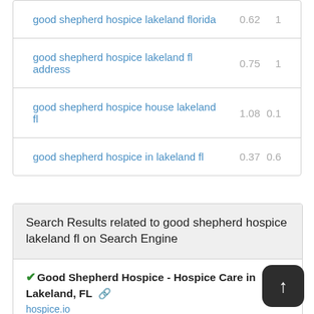|  |  |  |
| --- | --- | --- |
| good shepherd hospice lakeland florida | 0.62 | 1 |
| good shepherd hospice lakeland fl address | 0.75 | 1 |
| good shepherd hospice house lakeland fl | 1.08 | 0.1 |
| good shepherd hospice in lakeland fl | 0.37 | 0.6 |
Search Results related to good shepherd hospice lakeland fl on Search Engine
✔Good Shepherd Hospice - Hospice Care in Lakeland, FL 🔗
hospice.io
https://hospice.io/care/good-shepherd-hospice-lakeland
Good Shepherd Hospice is a hospice care center situated at